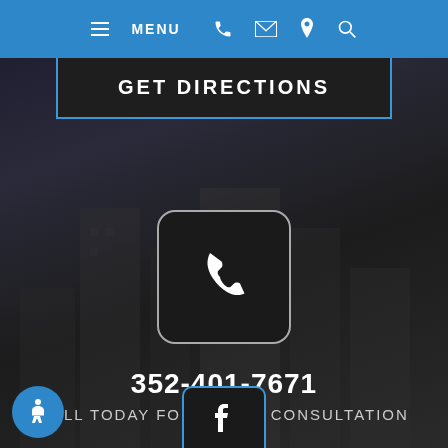[Figure (screenshot): Blue navigation bar with hamburger menu icon, MENU label, phone icon, email icon, location pin icon, and search icon on blue background]
GET DIRECTIONS
[Figure (other): Dark rounded square box with white telephone handset icon]
352-401-7671
CALL TODAY FOR A FREE CONSULTATION
[Figure (other): Blue circular accessibility wheelchair icon button]
[Figure (other): Dark box with blue border showing Facebook 'f' logo]